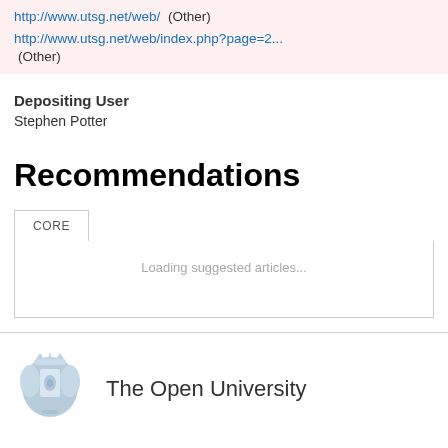http://www.utsg.net/web/  (Other)
http://www.utsg.net/web/index.php?page=2...  (Other)
Depositing User
Stephen Potter
Recommendations
CORE
Loading suggested articles...
[Figure (logo): The Open University logo — blue heraldic crest/shield illustration]
The Open University